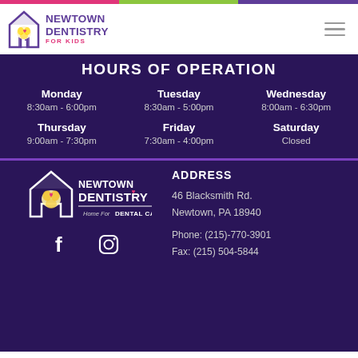[Figure (logo): Newtown Dentistry For Kids logo with house icon and tooth]
HOURS OF OPERATION
| Day | Hours |
| --- | --- |
| Monday | 8:30am - 6:00pm |
| Tuesday | 8:30am - 5:00pm |
| Wednesday | 8:00am - 6:30pm |
| Thursday | 9:00am - 7:30pm |
| Friday | 7:30am - 4:00pm |
| Saturday | Closed |
[Figure (logo): Newtown Dentistry Home For Dental Care logo white version]
[Figure (other): Facebook and Instagram social media icons]
ADDRESS
46 Blacksmith Rd.
Newtown, PA 18940
Phone: (215)-770-3901
Fax: (215) 504-5844